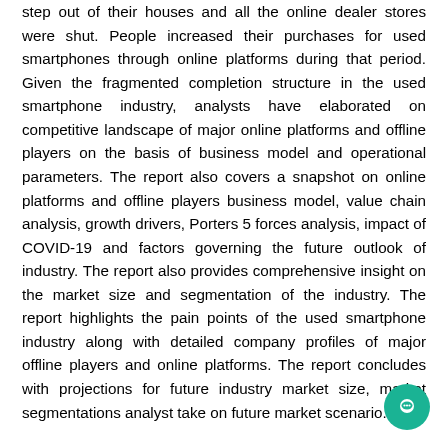step out of their houses and all the online dealer stores were shut. People increased their purchases for used smartphones through online platforms during that period. Given the fragmented completion structure in the used smartphone industry, analysts have elaborated on competitive landscape of major online platforms and offline players on the basis of business model and operational parameters. The report also covers a snapshot on online platforms and offline players business model, value chain analysis, growth drivers, Porters 5 forces analysis, impact of COVID-19 and factors governing the future outlook of industry. The report also provides comprehensive insight on the market size and segmentation of the industry. The report highlights the pain points of the used smartphone industry along with detailed company profiles of major offline players and online platforms. The report concludes with projections for future industry market size, market segmentations analyst take on future market scenario.